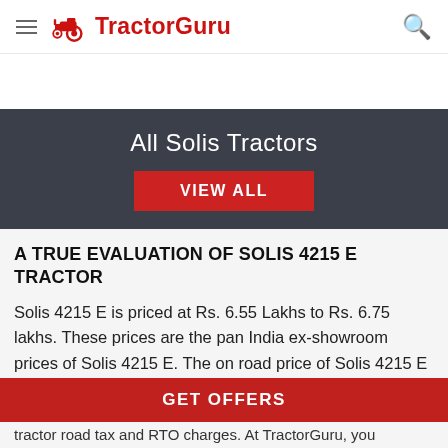TractorGuru
All Solis Tractors
A TRUE EVALUATION OF SOLIS 4215 E TRACTOR
Solis 4215 E is priced at Rs. 6.55 Lakhs to Rs. 6.75 lakhs. These prices are the pan India ex-showroom prices of Solis 4215 E. The on road price of Solis 4215 E tractor
tractor road tax and RTO charges. At TractorGuru, you